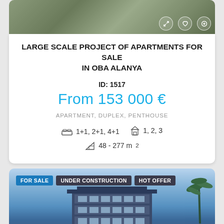[Figure (photo): Aerial/overhead photo of apartment buildings with trees, partially visible at top of card]
LARGE SCALE PROJECT OF APARTMENTS FOR SALE IN OBA ALANYA
ID: 1517
From 153 000 €
APARTMENT, DUPLEX, PENTHOUSE
1+1, 2+1, 4+1   1, 2, 3
48 - 277 m²
[Figure (photo): Exterior photo of modern multi-story apartment building under construction against blue sky, with palm tree on right. Badges: FOR SALE, UNDER CONSTRUCTION, HOT OFFER]